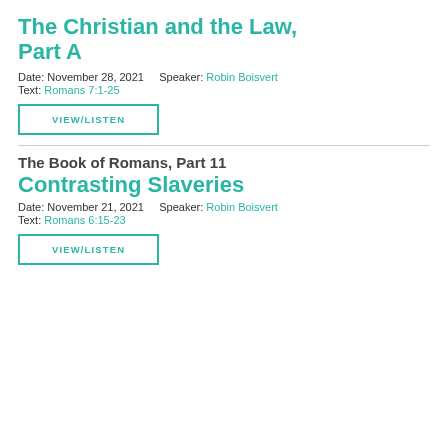The Christian and the Law, Part A
Date: November 28, 2021   Speaker: Robin Boisvert
Text: Romans 7:1-25
VIEW/LISTEN
The Book of Romans, Part 11 Contrasting Slaveries
Date: November 21, 2021   Speaker: Robin Boisvert
Text: Romans 6:15-23
VIEW/LISTEN